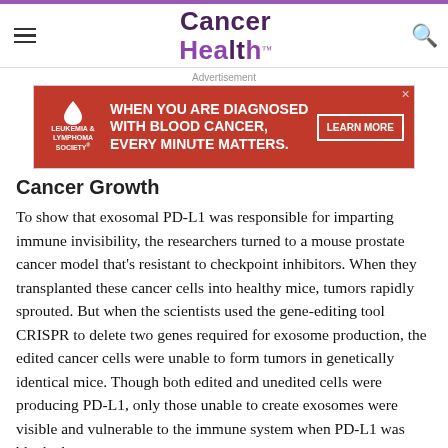Cancer Health
[Figure (other): Leukemia & Lymphoma Society advertisement banner: 'WHEN YOU ARE DIAGNOSED WITH BLOOD CANCER, EVERY MINUTE MATTERS.' with LEARN MORE button]
Cancer Growth
To show that exosomal PD-L1 was responsible for imparting immune invisibility, the researchers turned to a mouse prostate cancer model that's resistant to checkpoint inhibitors. When they transplanted these cancer cells into healthy mice, tumors rapidly sprouted. But when the scientists used the gene-editing tool CRISPR to delete two genes required for exosome production, the edited cancer cells were unable to form tumors in genetically identical mice. Though both edited and unedited cells were producing PD-L1, only those unable to create exosomes were visible and vulnerable to the immune system when PD-L1 was blocked.
[The text appears to continue below...]